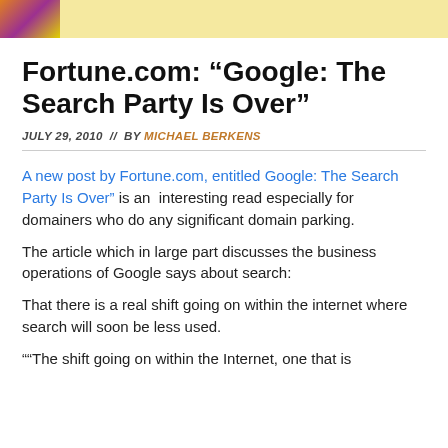[Figure (illustration): Banner image with colorful illustration at top of article page, yellow/gold background with partial figure visible at left]
Fortune.com: “Google: The Search Party Is Over”
JULY 29, 2010 // BY MICHAEL BERKENS
A new post by Fortune.com, entitled Google: The Search Party Is Over” is an interesting read especially for domainers who do any significant domain parking.
The article which in large part discusses the business operations of Google says about search:
That there is a real shift going on within the internet where search will soon be less used.
““The shift going on within the Internet, one that is